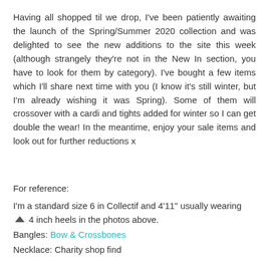Having all shopped til we drop, I've been patiently awaiting the launch of the Spring/Summer 2020 collection and was delighted to see the new additions to the site this week (although strangely they're not in the New In section, you have to look for them by category). I've bought a few items which I'll share next time with you (I know it's still winter, but I'm already wishing it was Spring). Some of them will crossover with a cardi and tights added for winter so I can get double the wear! In the meantime, enjoy your sale items and look out for further reductions x
For reference:
I'm a standard size 6 in Collectif and 4'11" usually wearing 4 inch heels in the photos above.
Bangles: Bow & Crossbones
Necklace: Charity shop find